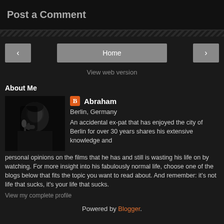Post a Comment
< Home >
View web version
About Me
[Figure (photo): Black and white profile photo of Abraham, a man in low light]
Abraham
Berlin, Germany
An accidental ex-pat that has enjoyed the city of Berlin for over 30 years shares his extensive knowledge and personal opinions on the films that he has and still is wasting his life on by watching. For more insight into his fabulously normal life, choose one of the blogs below that fits the topic you want to read about. And remember: it's not life that sucks, it's your life that sucks.
View my complete profile
Powered by Blogger.